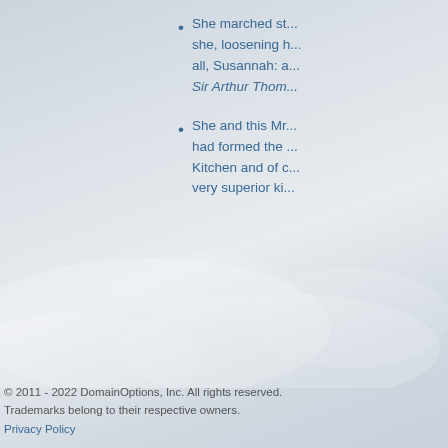She marched st... she, loosening h... all, Susannah: a... Sir Arthur Thom...
She and this Mr... had formed the ... Kitchen and of c... very superior ki...
© 2011 - 2022 DomainOptions, Inc. All rights reserved. Trademarks belong to their respective owners. Privacy Policy